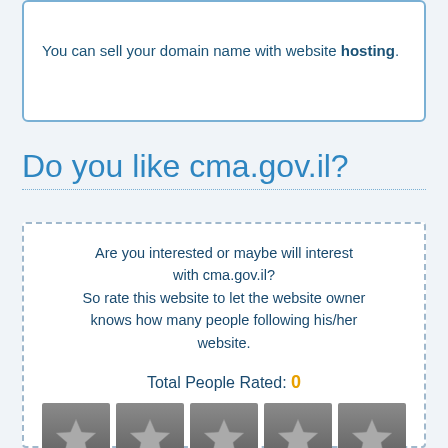You can sell your domain name with website hosting.
Do you like cma.gov.il?
Are you interested or maybe will interest with cma.gov.il? So rate this website to let the website owner knows how many people following his/her website.
Total People Rated: 0
[Figure (other): Five star rating widget with 5 grey stars on dark square backgrounds, currently unrated]